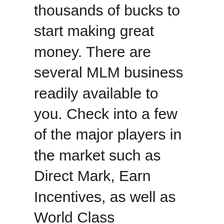thousands of bucks to start making great money. There are several MLM business readily available to you. Check into a few of the major players in the market such as Direct Mark, Earn Incentives, as well as World Class Promotions. With the right training as well as the ideal program you can be effective.
Online marketing is the best brand-new organization possibility. It is mainly on the internet, so the learning curve is a lot easier. However, it does take a lot of initiative to find out just how to establish your own blog site, internet site, as well as MySpace or Facebook page. However, when you have those things in position it is feasible to make a considerable amount of money. Among one